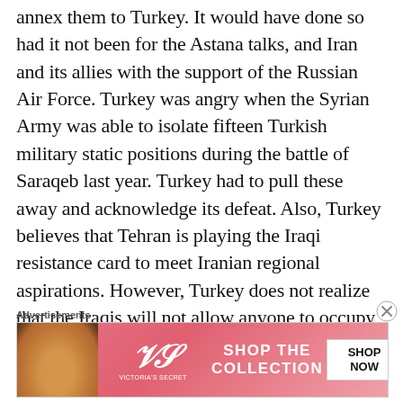annex them to Turkey. It would have done so had it not been for the Astana talks, and Iran and its allies with the support of the Russian Air Force. Turkey was angry when the Syrian Army was able to isolate fifteen Turkish military static positions during the battle of Saraqeb last year. Turkey had to pull these away and acknowledge its defeat. Also, Turkey believes that Tehran is playing the Iraqi resistance card to meet Iranian regional aspirations. However, Turkey does not realize that the Iraqis will not allow anyone to occupy their country and that the Iraqi arena is being tampered with by America and Israel.
Advertisements
[Figure (infographic): Victoria's Secret advertisement banner with model photo, VS logo, 'SHOP THE COLLECTION' text, and 'SHOP NOW' button on a pink/red gradient background.]